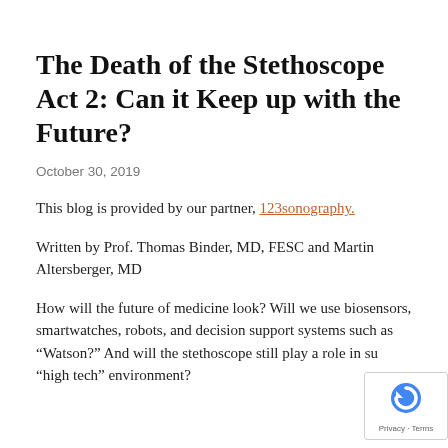The Death of the Stethoscope Act 2: Can it Keep up with the Future?
October 30, 2019
This blog is provided by our partner, 123sonography.
Written by Prof. Thomas Binder, MD, FESC and Martin Altersberger, MD
How will the future of medicine look? Will we use biosensors, smartwatches, robots, and decision support systems such as "Watson?" And will the stethoscope still play a role in such a "high tech" environment?